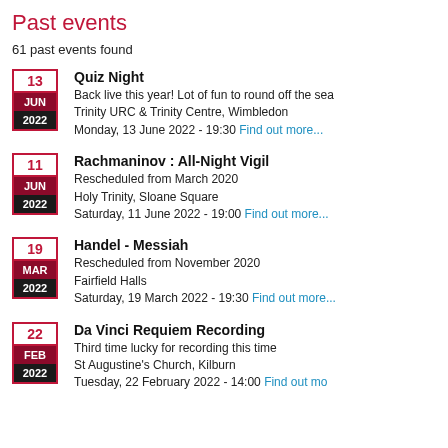Past events
61 past events found
Quiz Night
Back live this year! Lot of fun to round off the sea
Trinity URC & Trinity Centre, Wimbledon
Monday, 13 June 2022 - 19:30 Find out more...
Rachmaninov : All-Night Vigil
Rescheduled from March 2020
Holy Trinity, Sloane Square
Saturday, 11 June 2022 - 19:00 Find out more...
Handel - Messiah
Rescheduled from November 2020
Fairfield Halls
Saturday, 19 March 2022 - 19:30 Find out more...
Da Vinci Requiem Recording
Third time lucky for recording this time
St Augustine's Church, Kilburn
Tuesday, 22 February 2022 - 14:00 Find out more...